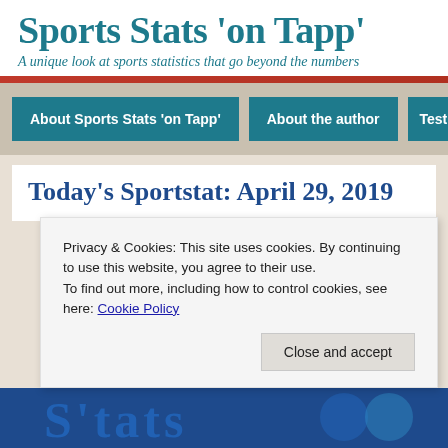Sports Stats 'on Tapp'
A unique look at sports statistics that go beyond the numbers
About Sports Stats ‘on Tapp’
About the author
Testim…
Today’s Sportstat: April 29, 2019
Privacy & Cookies: This site uses cookies. By continuing to use this website, you agree to their use.
To find out more, including how to control cookies, see here: Cookie Policy
Close and accept
[Figure (logo): Bottom banner with sports stats logo letters in blue]